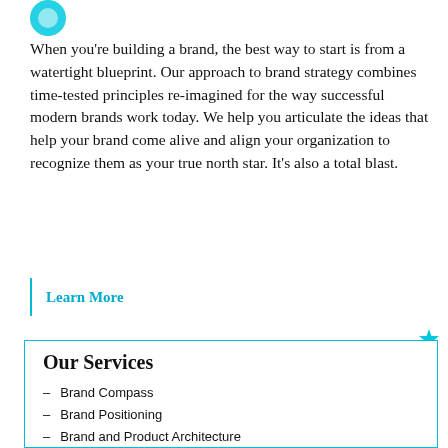[Figure (logo): Partial cyan/teal circular logo mark at top left]
When you're building a brand, the best way to start is from a watertight blueprint. Our approach to brand strategy combines time-tested principles re-imagined for the way successful modern brands work today. We help you articulate the ideas that help your brand come alive and align your organization to recognize them as your true north star. It's also a total blast.
Learn More
Our Services
Brand Compass
Brand Positioning
Brand and Product Architecture
Brand Voice
Portfolio Management